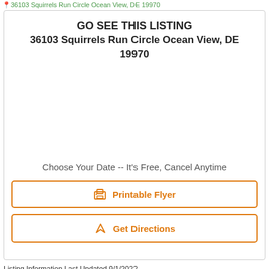36103 Squirrels Run Circle Ocean View, DE 19970
GO SEE THIS LISTING
36103 Squirrels Run Circle Ocean View, DE 19970
Choose Your Date -- It's Free, Cancel Anytime
Printable Flyer
Get Directions
Listing Information Last Updated 9/1/2022